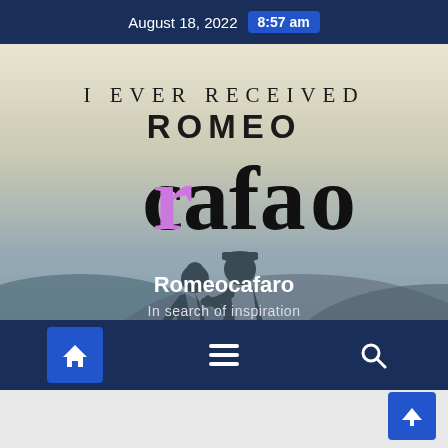August 18, 2022  8:57 am
[Figure (illustration): Book cover image with text overlays: 'I EVER RECEIVED', 'ROMEO' in bold caps, 'cafaro' in large serif font with pink 'r', silhouette of couple in background, website name 'Romeocafaro' and tagline 'In search of inspiration']
Navigation bar with home, menu, and search icons; scroll-to-top button